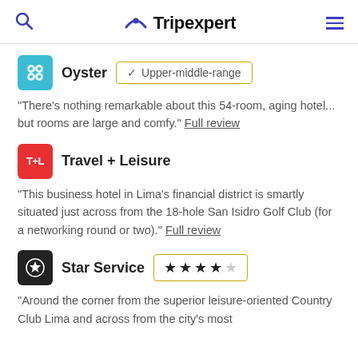Tripexpert
Oyster   ✓ Upper-middle-range
"There's nothing remarkable about this 54-room, aging hotel... but rooms are large and comfy." Full review
Travel + Leisure
"This business hotel in Lima's financial district is smartly situated just across from the 18-hole San Isidro Golf Club (for a networking round or two)." Full review
Star Service   ★ ★ ★ ★ ☆
"Around the corner from the superior leisure-oriented Country Club Lima and across from the city's most